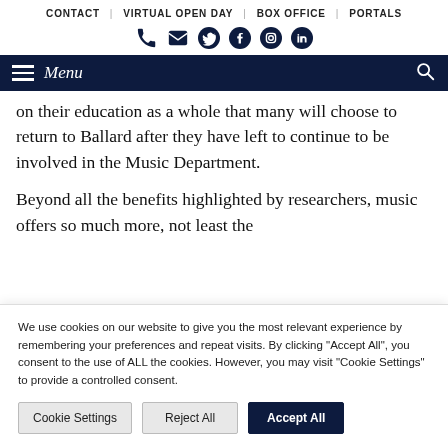CONTACT | VIRTUAL OPEN DAY | BOX OFFICE | PORTALS
[Figure (infographic): Social media icons row: phone, email, Twitter, Facebook, Instagram, LinkedIn]
Menu
on their education as a whole that many will choose to return to Ballard after they have left to continue to be involved in the Music Department.
Beyond all the benefits highlighted by researchers, music offers so much more, not least the
We use cookies on our website to give you the most relevant experience by remembering your preferences and repeat visits. By clicking "Accept All", you consent to the use of ALL the cookies. However, you may visit "Cookie Settings" to provide a controlled consent.